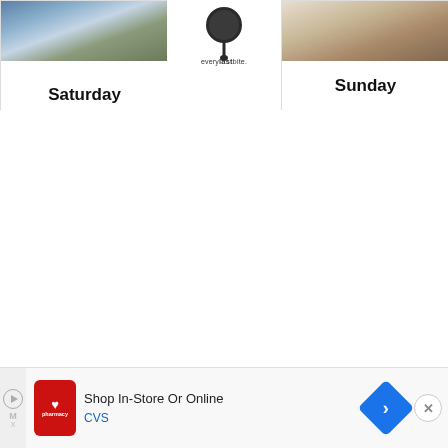[Figure (photo): Food photo card showing Saturday with a dish in a bowl on a blue background]
[Figure (logo): Every Last Bite logo with a pan/skillet icon and text]
[Figure (photo): Food photo card showing Sunday with a meat dish on a white plate]
[Figure (other): CVS Pharmacy advertisement banner: Shop In-Store Or Online with CVS logo and blue navigation arrow icon]